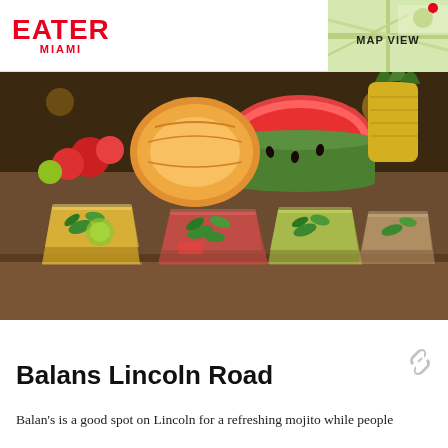EATER MIAMI | MAP VIEW
[Figure (photo): Four colorful mojito cocktails in glass tumblers lined up on a bar counter, each garnished with fresh mint and topped with various fruits including watermelon, cantaloupe, mango, and pineapple.]
Balans Lincoln Road
Balan's is a good spot on Lincoln for a refreshing mojito while people